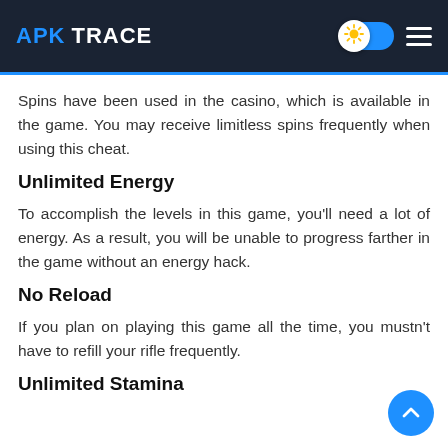APK TRACE
Spins have been used in the casino, which is available in the game. You may receive limitless spins frequently when using this cheat.
Unlimited Energy
To accomplish the levels in this game, you'll need a lot of energy. As a result, you will be unable to progress farther in the game without an energy hack.
No Reload
If you plan on playing this game all the time, you mustn't have to refill your rifle frequently.
Unlimited Stamina